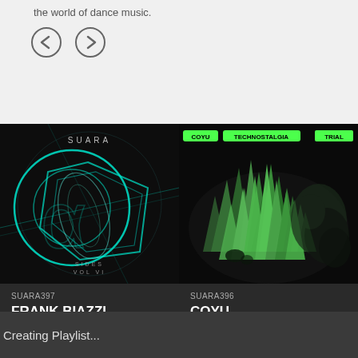the world of dance music.
[Figure (illustration): Two circular navigation arrow buttons (left and right) on a light gray background]
[Figure (photo): Album cover art for SUARA Alpha Sides Vol. VI - dark background with teal/cyan geometric circular and angular shapes]
[Figure (photo): Album cover art for Coyu Technostalgia EP - dark background with green 3D spiky organic shapes, COYU and TECHNOSTALGIA text labels]
SUARA397
FRANK BIAZZI, ...
Alpha Sides Vol. VI
SUARA396
COYU
Technostalgia EP
Creating Playlist...